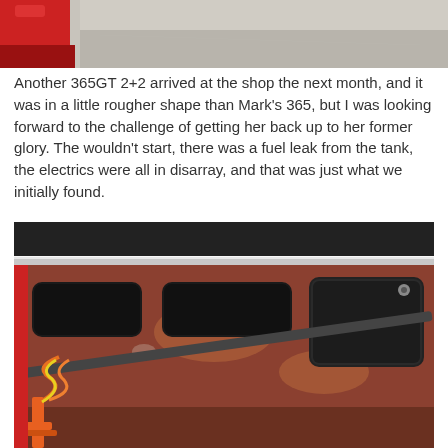[Figure (photo): Partial top photo showing red car body and gray concrete floor, cropped at top of page]
Another 365GT 2+2 arrived at the shop the next month, and it was in a little rougher shape than Mark's 365, but I was looking forward to the challenge of getting her back up to her former glory. The wouldn't start, there was a fuel leak from the tank, the electrics were all in disarray, and that was just what we initially found.
[Figure (photo): Interior door panel area of a Ferrari 365GT 2+2 showing stripped metal, rust, bare door frame structure with rectangular cutouts, visible wiring (orange and yellow cables) and a hydraulic jack stand at bottom left. Black leather trim visible at top.]